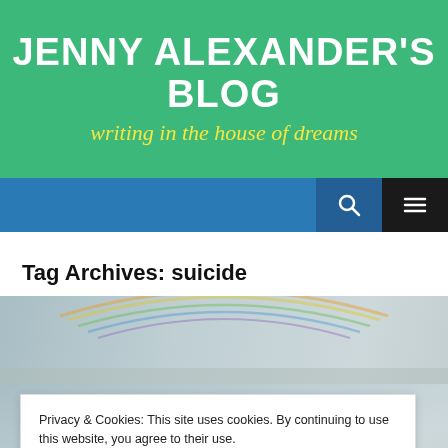JENNY ALEXANDER'S BLOG
writing in the house of dreams
Tag Archives: suicide
[Figure (photo): Landscape background image with a rainbow arc visible in an overcast sky, with bare winter trees at the bottom.]
Privacy & Cookies: This site uses cookies. By continuing to use this website, you agree to their use.
To find out more, including how to control cookies, see here: Cookie Policy
Close and accept